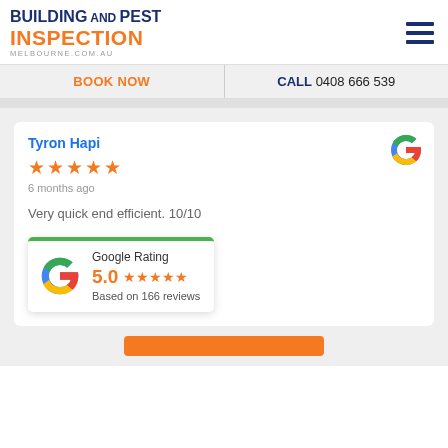[Figure (logo): Building And Pest Inspection Melbourne.com.au logo with hamburger menu icon]
BOOK NOW   CALL 0408 666 539
Tyron Hapi
★★★★★
6 months ago
Very quick end efficient. 10/10
[Figure (infographic): Google Rating 5.0 stars based on 166 reviews widget]
[Figure (other): Orange button at bottom]